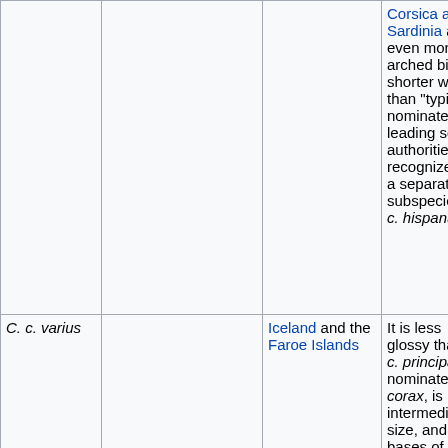|  |  |  | Corsica and Sardinia an even more arched bill and shorter wings than "typical" nominate leading some authorities to recognize it as a separate subspecies C. c. hispanus |
| C. c. varius |  | Iceland and the Faroe Islands | It is less glossy than C. c. principalis nominate corax, is intermediate in size, and the bases of its neck feathers are whitish (… |